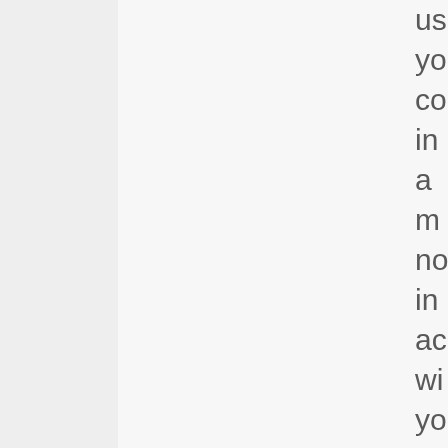us yo co in a m no in ac wi yo wi In ot wo yo ca tru us to us